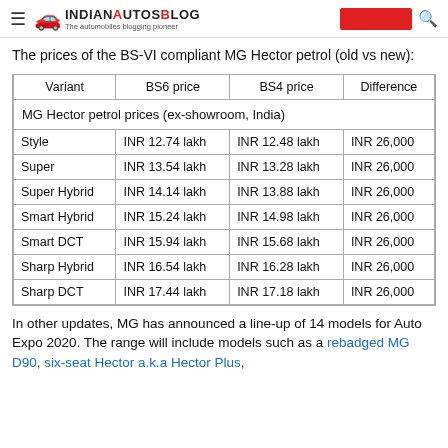IndianAutosBlog — The automobiles blogging pioneer
The prices of the BS-VI compliant MG Hector petrol (old vs new):
| Variant | BS6 price | BS4 price | Difference |
| --- | --- | --- | --- |
| Style | INR 12.74 lakh | INR 12.48 lakh | INR 26,000 |
| Super | INR 13.54 lakh | INR 13.28 lakh | INR 26,000 |
| Super Hybrid | INR 14.14 lakh | INR 13.88 lakh | INR 26,000 |
| Smart Hybrid | INR 15.24 lakh | INR 14.98 lakh | INR 26,000 |
| Smart DCT | INR 15.94 lakh | INR 15.68 lakh | INR 26,000 |
| Sharp Hybrid | INR 16.54 lakh | INR 16.28 lakh | INR 26,000 |
| Sharp DCT | INR 17.44 lakh | INR 17.18 lakh | INR 26,000 |
In other updates, MG has announced a line-up of 14 models for Auto Expo 2020. The range will include models such as a rebadged MG D90, six-seat Hector a.k.a Hector Plus,